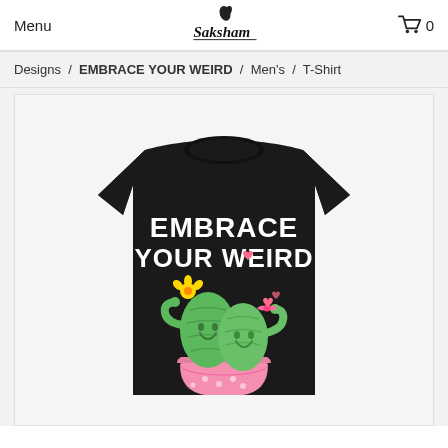Menu  Saksham  0
Designs / EMBRACE YOUR WEIRD / Men's / T-Shirt
[Figure (photo): Black t-shirt with cute cartoon cactus couple hugging in a pink pot, with text 'EMBRACE YOUR WEIRD' printed on it]